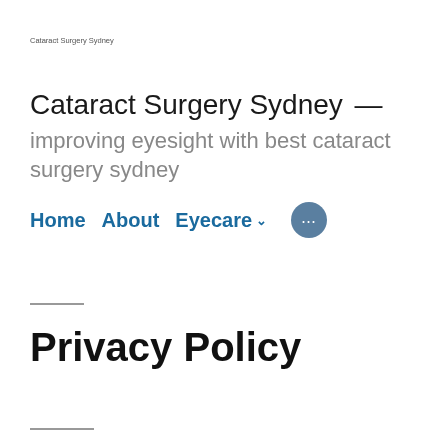Cataract Surgery Sydney
Cataract Surgery Sydney — improving eyesight with best cataract surgery sydney
Home   About   Eyecare ∨   •••
Privacy Policy